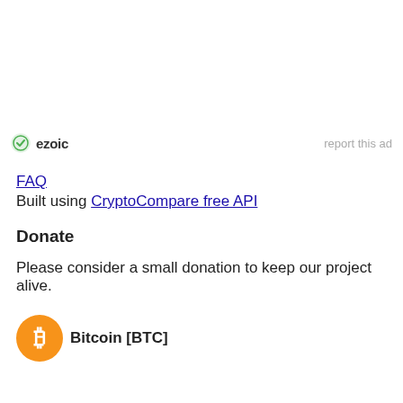[Figure (logo): Ezoic logo with green circular icon and 'ezoic' text in dark, alongside 'report this ad' text in light gray]
FAQ
Built using CryptoCompare free API
Donate
Please consider a small donation to keep our project alive.
[Figure (logo): Bitcoin [BTC] with orange Bitcoin circular logo icon and bold label 'Bitcoin [BTC]']